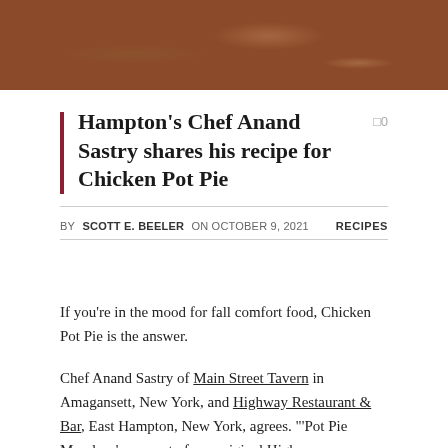[Figure (photo): Close-up photo of food, appears to be a baked dish with brown/golden crust, possibly a pie, with some seasoning visible on top.]
Hampton's Chef Anand Sastry shares his recipe for Chicken Pot Pie
BY SCOTT E. BEELER ON OCTOBER 9, 2021   RECIPES
If you're in the mood for fall comfort food, Chicken Pot Pie is the answer.
Chef Anand Sastry of Main Street Tavern in Amagansett, New York, and Highway Restaurant & Bar, East Hampton, New York, agrees. "'Pot Pie Mondays' was part of our original Highway promotions. We use our rotisserie chicken and the same batter